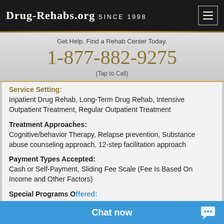Drug-Rehabs.org Since 1998
Get Help. Find a Rehab Center Today.
1-877-882-9275
(Tap to Call)
Service Setting:
Inpatient Drug Rehab, Long-Term Drug Rehab, Intensive Outpatient Treatment, Regular Outpatient Treatment
Treatment Approaches:
Cognitive/behavior Therapy, Relapse prevention, Substance abuse counseling approach, 12-step facilitation approach
Payment Types Accepted:
Cash or Self-Payment, Sliding Fee Scale (Fee Is Based On Income and Other Factors)
Special Programs Offered:
Persons With Co-Oc...
Chat now